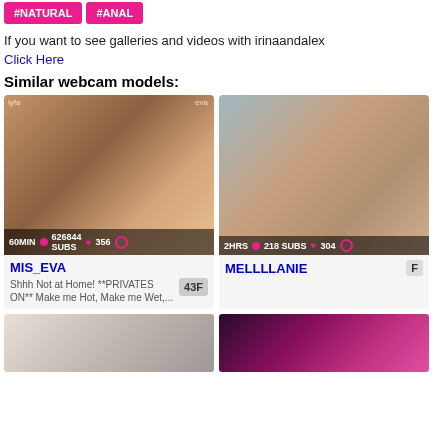#NATURAL
#ANAL
If you want to see galleries and videos with irinaandalex
Click Here
Similar webcam models:
[Figure (photo): Webcam model thumbnail for MIS_EVA]
MIS_EVA 43F - Shhh Not at Home! **PRIVATES ON** Make me Hot, Make me Wet,...
[Figure (photo): Webcam model thumbnail for MELLLLANIE]
MELLLLANIE F
[Figure (photo): Bottom left webcam model thumbnail]
[Figure (photo): Bottom right webcam model thumbnail]